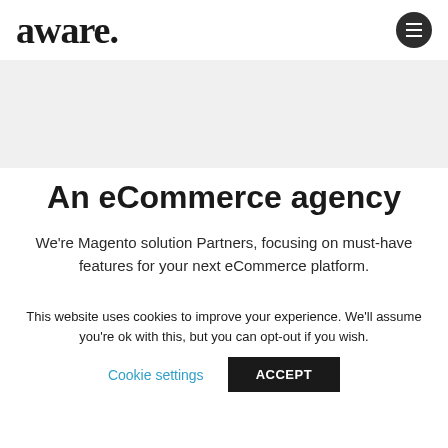aware.
An eCommerce agency
We're Magento solution Partners, focusing on must-have features for your next eCommerce platform.
We're here to deliver exactly what you're after. We'll never
This website uses cookies to improve your experience. We'll assume you're ok with this, but you can opt-out if you wish.
Cookie settings   ACCEPT